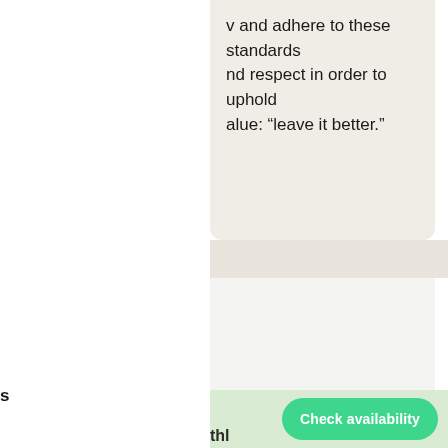and adhere to these standards nd respect in order to uphold alue: “leave it better.”
s
thl
Check availability